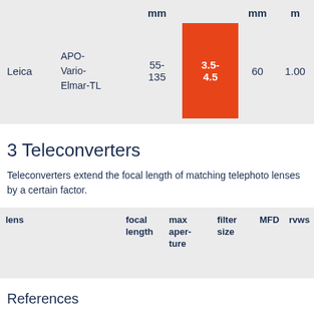|  |  | mm | mm | m |
| --- | --- | --- | --- | --- |
| Leica | APO-Vario-Elmar-TL | 55-135 | 3.5-4.5 | 60 | 1.00 |
3 Teleconverters
Teleconverters extend the focal length of matching telephoto lenses by a certain factor.
| lens | focal length | max aper-ture | filter size | MFD | rvws |
| --- | --- | --- | --- | --- | --- |
References